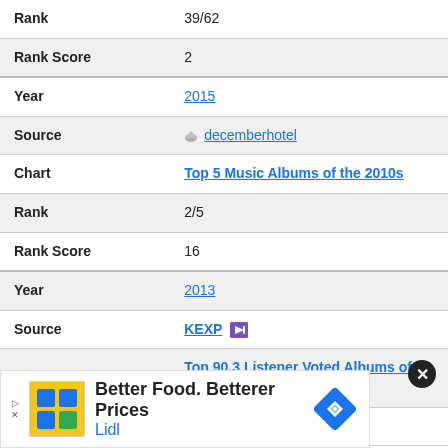| Rank | 39/62 |
| Rank Score | 2 |
| Year | 2015 |
| Source | decemberhotel |
| Chart | Top 5 Music Albums of the 2010s |
| Rank | 2/5 |
| Rank Score | 16 |
| Year | 2013 |
| Source | KEXP |
| Chart | Top 90.3 Listener Voted Albums of 2013 |
| Rank | 76/90 |
[Figure (infographic): Advertisement banner for Lidl: 'Better Food. Betterer Prices' with Lidl logo and a blue diamond navigation icon]